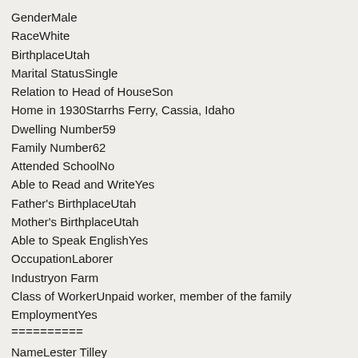GenderMale
RaceWhite
BirthplaceUtah
Marital StatusSingle
Relation to Head of HouseSon
Home in 1930Starrhs Ferry, Cassia, Idaho
Dwelling Number59
Family Number62
Attended SchoolNo
Able to Read and WriteYes
Father's BirthplaceUtah
Mother's BirthplaceUtah
Able to Speak EnglishYes
OccupationLaborer
Industryon Farm
Class of WorkerUnpaid worker, member of the family
EmploymentYes
==========
NameLester Tilley
Age in 193018
Birth Year1912
GenderMale
RaceWhite
BirthplaceUtah
Marital StatusSingle
Relation to Head of HouseSon